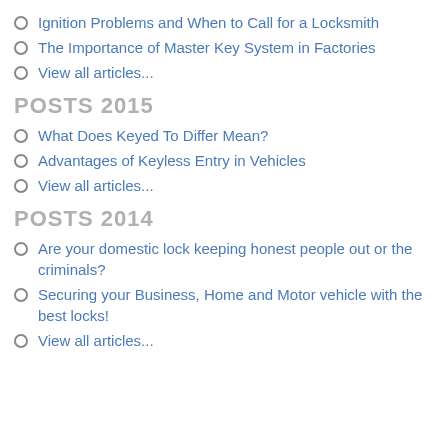Ignition Problems and When to Call for a Locksmith
The Importance of Master Key System in Factories
View all articles...
POSTS 2015
What Does Keyed To Differ Mean?
Advantages of Keyless Entry in Vehicles
View all articles...
POSTS 2014
Are your domestic lock keeping honest people out or the criminals?
Securing your Business, Home and Motor vehicle with the best locks!
View all articles...